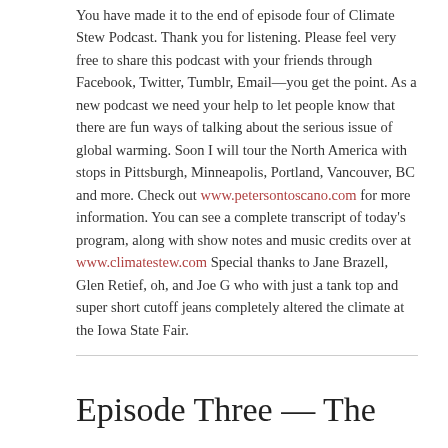You have made it to the end of episode four of Climate Stew Podcast. Thank you for listening. Please feel very free to share this podcast with your friends through Facebook, Twitter, Tumblr, Email—you get the point. As a new podcast we need your help to let people know that there are fun ways of talking about the serious issue of global warming. Soon I will tour the North America with stops in Pittsburgh, Minneapolis, Portland, Vancouver, BC and more. Check out www.petersontoscano.com for more information. You can see a complete transcript of today's program, along with show notes and music credits over at www.climatestew.com Special thanks to Jane Brazell, Glen Retief, oh, and Joe G who with just a tank top and super short cutoff jeans completely altered the climate at the Iowa State Fair.
Episode Three — The